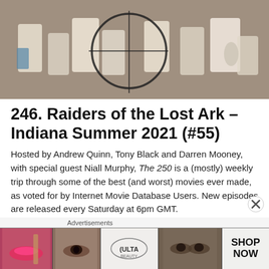[Figure (photo): A scene from Raiders of the Lost Ark showing figures in white robes in a crowded marketplace, with a circular crosshair/target overlay on the image]
246. Raiders of the Lost Ark – Indiana Summer 2021 (#55)
Hosted by Andrew Quinn, Tony Black and Darren Mooney, with special guest Niall Murphy, The 250 is a (mostly) weekly trip through some of the best (and worst) movies ever made, as voted for by Internet Movie Database Users. New episodes are released every Saturday at 6pm GMT.
[Figure (photo): An Ulta Beauty advertisement banner showing close-up beauty/makeup images including lips, eyes, and an Ulta Beauty logo, with a SHOP NOW call to action]
Advertisements